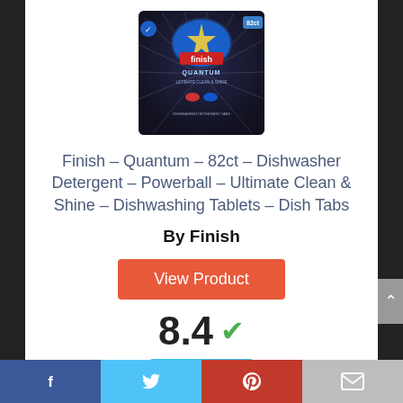[Figure (photo): Finish Quantum dishwasher detergent product box — dark packaging with silver/blue design and Finish branding]
Finish – Quantum – 82ct – Dishwasher Detergent – Powerball – Ultimate Clean & Shine – Dishwashing Tablets – Dish Tabs
By Finish
View Product
8.4 ✓
Score
Facebook | Twitter | Pinterest | Email